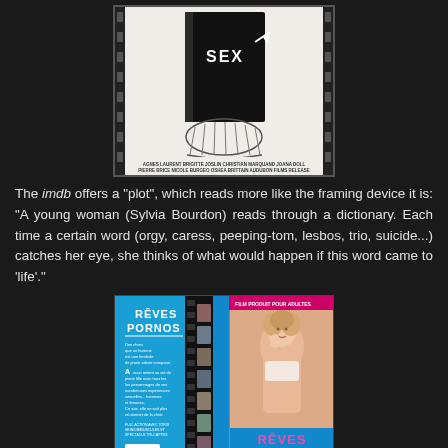[Figure (photo): Black and white movie poster/press sheet showing a figure in a dress next to a large book with 'SEX' on the spine. Text at the bottom reads: AGNES LAURENT BRIGITTE JOSLIN CHRISTIAN MARQUAND JOANA DOLL PIERRE BRICE NICOLE BURGEO OSHEA BRITTAIN AUDUBON FILMS RELEASE]
The imdb offers a "plot", which reads more like the framing device it is: "A young woman (Sylvia Bourdon) reads through a dictionary. Each time a certain word (orgy, caress, peeping-tom, lesbos, trio, suicide...) catches her eye, she thinks of what would happen if this word came to 'life'."
[Figure (photo): VHS cover for 'RÊVES PORNOS' showing a blue background with the title in pink/white letters. The left panel shows the back cover with French text and small film strip images. The right panel shows the front cover with a blonde woman.]